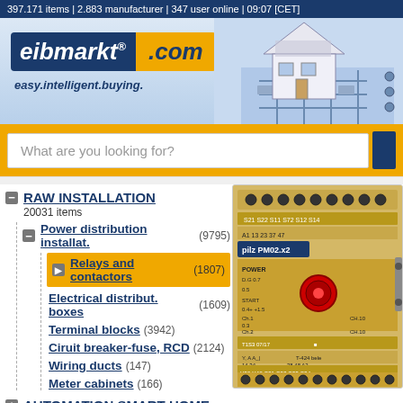397.171 items | 2.883 manufacturer | 347 user online | 09:07 [CET]
[Figure (logo): eibmarkt.com logo with blue eibmarkt text and yellow .com badge, tagline: easy.intelligent.buying., with house/circuit board illustration on right]
What are you looking for?
RAW INSTALLATION 20031 items
Power distribution installat. (9795)
Relays and contactors (1807)
Electrical distribut. boxes (1609)
Terminal blocks (3942)
Ciruit breaker-fuse, RCD (2124)
Wiring ducts (147)
Meter cabinets (166)
AUTOMATION SMART HOME
[Figure (photo): Yellow Pilz safety relay device (PMO2.x2 model) with multiple terminals and connectors]